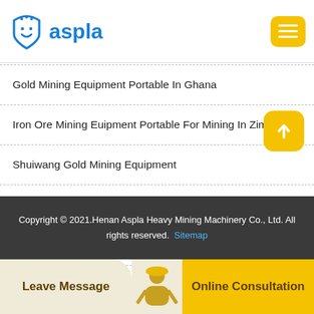aspla
Gold Mining Equipment Portable In Ghana
Iron Ore Mining Euipment Portable For Mining In Zimbabwe
Shuiwang Gold Mining Equipment
Bogoso Gold Mining Process
Process Flowsheet Development For Coal Beneficiationri
Copyright © 2021.Henan Aspla Heavy Mining Machinery Co., Ltd. All rights reserved. Sitemap
Leave Message   Online Consultation